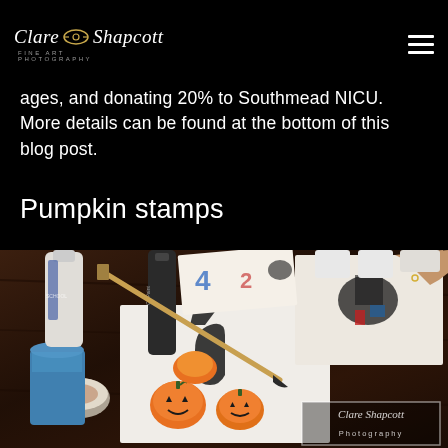Clare Shapcott Fine Art Photography
ages, and donating 20% to Southmead NICU. More details can be found at the bottom of this blog post.
Pumpkin stamps
[Figure (photo): A dark wood table covered in art supplies and papers with pumpkin stamp paintings, including orange pumpkin face stamps, black ink prints, paint bottles, brushes, and a person's hand stamping in the upper right corner. A watermark reading 'Clare Shapcott Photography' appears in the lower right.]